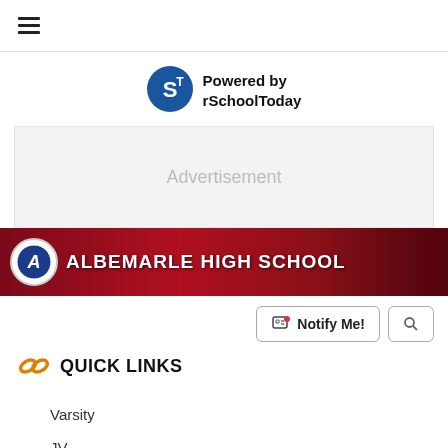≡ (hamburger menu)
[Figure (logo): rSchoolToday logo — circular blue icon with S and T letters]
Powered by rSchoolToday
[Figure (other): Advertisement placeholder banner]
[Figure (photo): Albemarle High School banner with school logo and sports action photos on red background]
Notify Me!
QUICK LINKS
Varsity
JV